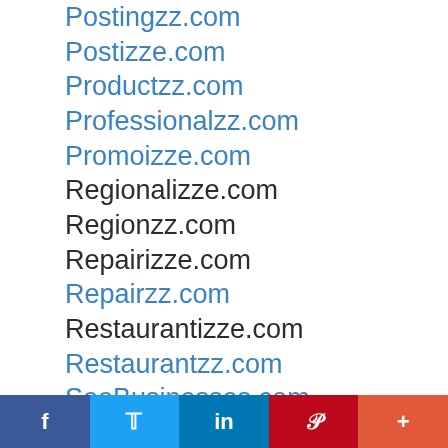Postingzz.com
Postizze.com
Productzz.com
Professionalzz.com
Promoizze.com
Regionalizze.com
Regionzz.com
Repairizze.com
Repairzz.com
Restaurantizze.com
Restaurantzz.com
SeeBusinesses.com
Serviceizze.com
Servicezz.com
Spotlightizze.com
Spotlightzz.com
StateAdvertised.com
f  Twitter  in  Pinterest  +